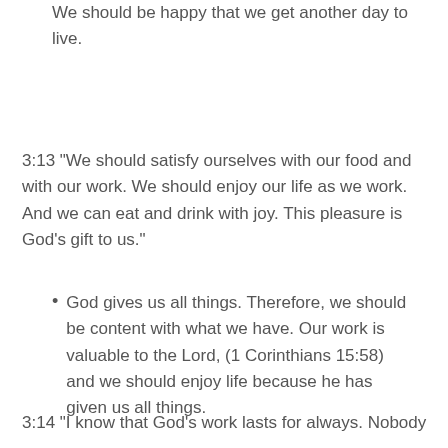We should be happy that we get another day to live.
3:13 “We should satisfy ourselves with our food and with our work. We should enjoy our life as we work. And we can eat and drink with joy. This pleasure is God’s gift to us.”
God gives us all things. Therefore, we should be content with what we have. Our work is valuable to the Lord, (1 Corinthians 15:58) and we should enjoy life because he has given us all things.
3:14 “I know that God’s work lasts for always. Nobody